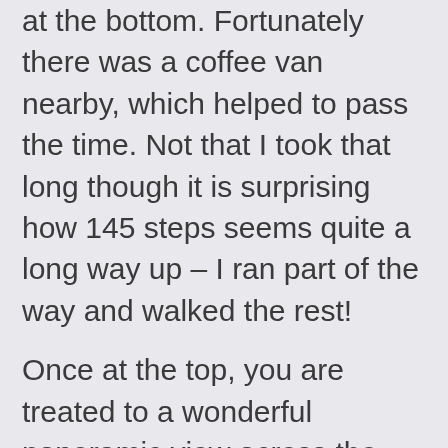at the bottom. Fortunately there was a coffee van nearby, which helped to pass the time. Not that I took that long though it is surprising how 145 steps seems quite a long way up – I ran part of the way and walked the rest!
Once at the top, you are treated to a wonderful panoramic view across the Indian Ocean and coastal path. The lookout point has boards with some interesting information about the local fauna and flora including the beautiful Carnaby's Black-Cockatoos. Sadly these birds, native to the south west coastal region of Perth, have become